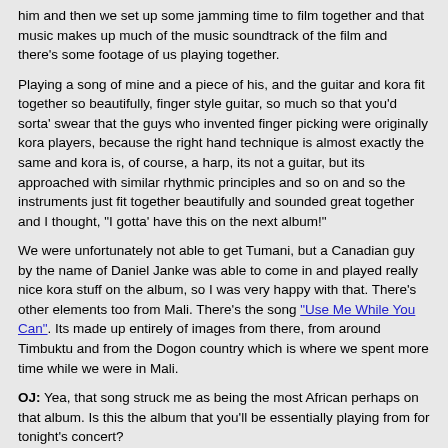him and then we set up some jamming time to film together and that music makes up much of the music soundtrack of the film and there's some footage of us playing together.
Playing a song of mine and a piece of his, and the guitar and kora fit together so beautifully, finger style guitar, so much so that you'd sorta' swear that the guys who invented finger picking were originally kora players, because the right hand technique is almost exactly the same and kora is, of course, a harp, its not a guitar, but its approached with similar rhythmic principles and so on and so the instruments just fit together beautifully and sounded great together and I thought, "I gotta' have this on the next album!"
We were unfortunately not able to get Tumani, but a Canadian guy by the name of Daniel Janke was able to come in and played really nice kora stuff on the album, so I was very happy with that. There's other elements too from Mali. There's the song "Use Me While You Can". Its made up entirely of images from there, from around Timbuktu and from the Dogon country which is where we spent more time while we were in Mali.
OJ: Yea, that song struck me as being the most African perhaps on that album. Is this the album that you'll be essentially playing from for tonight's concert?
BC: Yea, we'll be doing a lot of songs from the album. It varies lightly from night to night, very slightly [laugh] but generally the show is probably half stuff from the album and half a selection of older stuff.
OJ: Yea, there's certain of your tracks around here that have to be played or people will feel that they've missed out. [Both laugh] You're very popular around here.